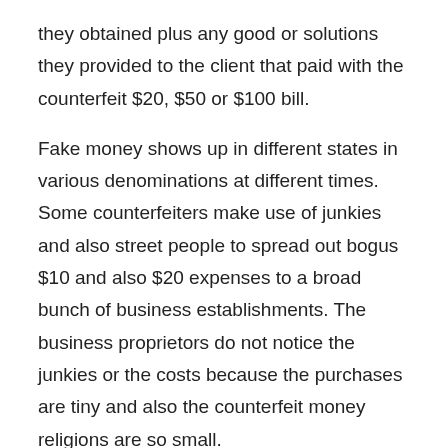they obtained plus any good or solutions they provided to the client that paid with the counterfeit $20, $50 or $100 bill.
Fake money shows up in different states in various denominations at different times. Some counterfeiters make use of junkies and also street people to spread out bogus $10 and also $20 expenses to a broad bunch of business establishments. The business proprietors do not notice the junkies or the costs because the purchases are tiny and also the counterfeit money religions are so small.
Counterfeit money is currency produced without the legal sanction of the State or government, generally in an intentional attempt to copy that currency therefore regarding deceive its recipient. Producing or utilizing counterfeit money is a kind of scams or bogus, and is prohibited. Business of funny money is